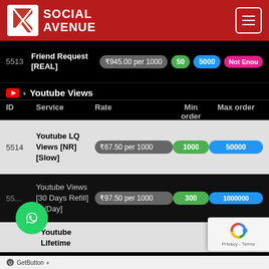[Figure (logo): Social Avenue logo with lightning bolt icon on red header background]
| ID | Service | Rate | Min order | Max order |
| --- | --- | --- | --- | --- |
| 5513 | Friend Request [REAL] | ₹945.00 per 1000 | 50 | 5000 |
| 5514 | Youtube LQ Views [NR] [Slow] | ₹67.50 per 1000 | 1000 | 50000 |
| 55... | Youtube Views [30 Days Refill] 2k/Day] | ₹97.50 per 1000 | 300 | 1000000 |
|  | Youtube Lifetime... |  |  |  |